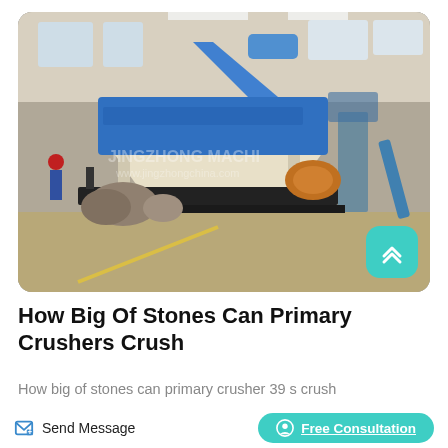[Figure (photo): Industrial stone crusher machine (primary crusher) with blue hopper mechanism on a metal frame, displayed in a factory/warehouse. Branded with 'JINGZHONG MACHINERY' watermark. A teal scroll-to-top button with an up-arrow chevron is overlaid in the bottom-right corner of the image.]
How Big Of Stones Can Primary Crushers Crush
How big of stones can primary crusher 39 s crush
Send Message
Free Consultation